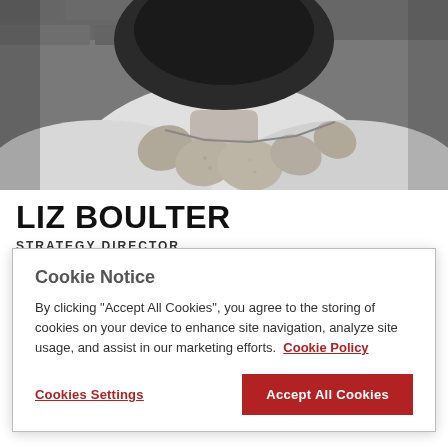[Figure (photo): Black and white photo of a woman (Liz Boulter) wearing a white top and a large stone/pebble necklace, photographed from the chest up, with a blurred brick wall background.]
LIZ BOULTER
STRATEGY DIRECTOR
Cookie Notice
By clicking “Accept All Cookies”, you agree to the storing of cookies on your device to enhance site navigation, analyze site usage, and assist in our marketing efforts.  Cookie Policy
Cookies Settings
Accept All Cookies